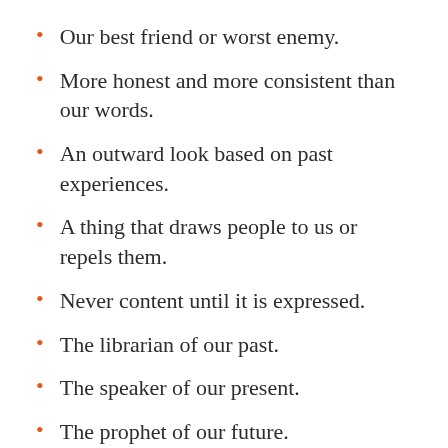Our best friend or worst enemy.
More honest and more consistent than our words.
An outward look based on past experiences.
A thing that draws people to us or repels them.
Never content until it is expressed.
The librarian of our past.
The speaker of our present.
The prophet of our future.
Your attitude, or your willingness to think